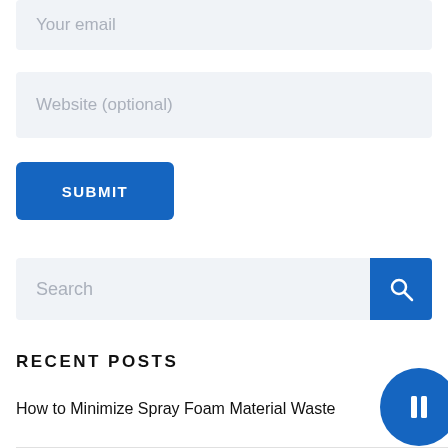Your email
Website (optional)
SUBMIT
Search
RECENT POSTS
How to Minimize Spray Foam Material Waste